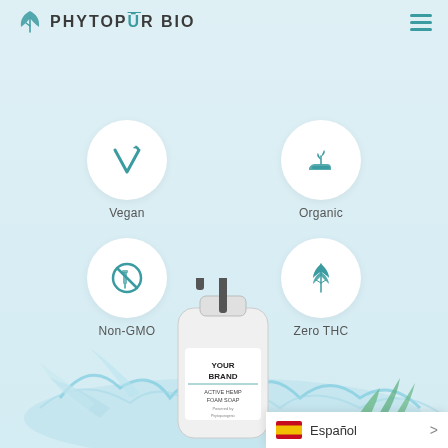[Figure (logo): PhytopUR BIO logo with teal cannabis leaf icon and text PHYTOPUR BIO]
[Figure (infographic): Four product attribute icons in circles: Vegan (checkmark/leaf), Organic (hand with plant), Non-GMO (syringe crossed out), Zero THC (cannabis leaf)]
[Figure (photo): Product bottle labeled YOUR BRAND ACTIVE HEMP FOAM SOAP with water splash background and aloe vera leaves]
Español